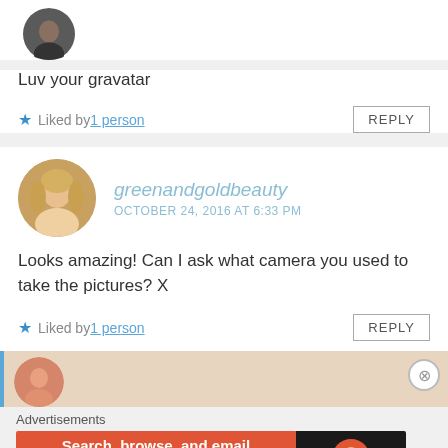[Figure (photo): Circular avatar photo of a person, partially visible at top of page]
Luv your gravatar
★ Liked by 1 person   REPLY
[Figure (photo): Circular avatar photo of a blonde woman]
greenandgoldbeauty
OCTOBER 24, 2016 AT 6:33 PM
Looks amazing! Can I ask what camera you used to take the pictures? X
★ Liked by 1 person   REPLY
[Figure (screenshot): Advertisement banner: DuckDuckGo - Search, browse, and email with more privacy. All in One Free App]
Advertisements